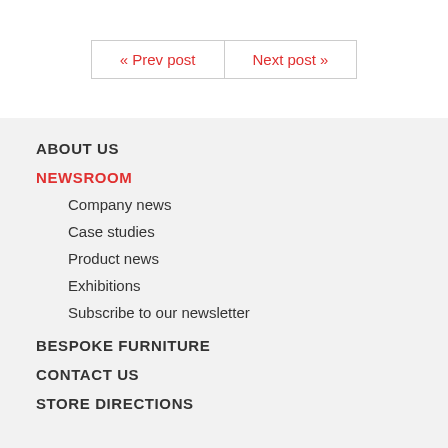« Prev post   Next post »
ABOUT US
NEWSROOM
Company news
Case studies
Product news
Exhibitions
Subscribe to our newsletter
BESPOKE FURNITURE
CONTACT US
STORE DIRECTIONS